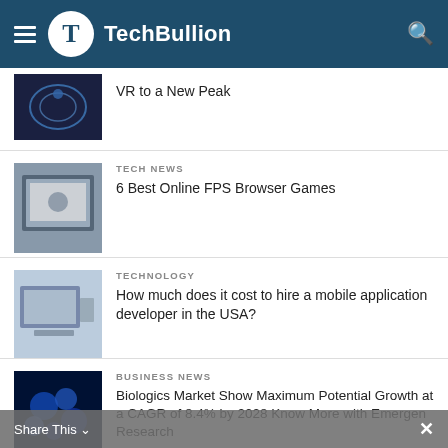TechBullion
VR to a New Peak
TECH NEWS
6 Best Online FPS Browser Games
TECHNOLOGY
How much does it cost to hire a mobile application developer in the USA?
BUSINESS NEWS
Biologics Market Show Maximum Potential Growth at a CAGR of 8.4% by 2028 Know More with Emergen Research
Share This